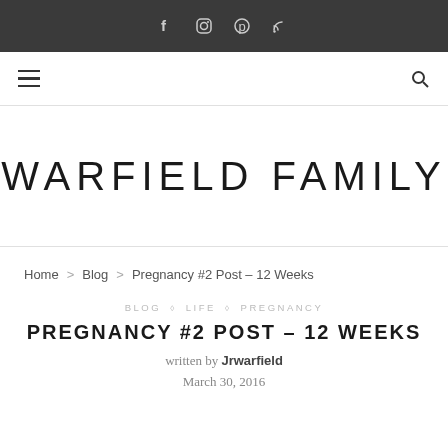Social icons: Facebook, Instagram, Pinterest, RSS
Navigation bar with hamburger menu and search icon
WARFIELD FAMILY
Home > Blog > Pregnancy #2 Post - 12 Weeks
BLOG ◇ LIFE ◇ PREGNANCY
PREGNANCY #2 POST – 12 WEEKS
written by Jrwarfield
March 30, 2016